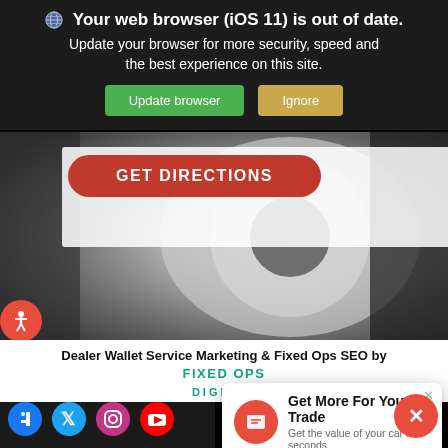Your web browser (iOS 11) is out of date. Update your browser for more security, speed and the best experience on this site.
Update browser | Ignore
[Figure (screenshot): Car wheel/hub close-up photo with GET DIRECTIONS red button overlay]
GET DIRECTIONS
Dealer Wallet Service Marketing & Fixed Ops SEO by FIXED OPS DIGITAL
[Figure (screenshot): Get More For Your Trade popup card with chat icon]
Get More For Your Trade
Get the value of your car in seconds
Stay Connected
[Figure (infographic): Social media icons: Facebook, Twitter, Instagram, YouTube]